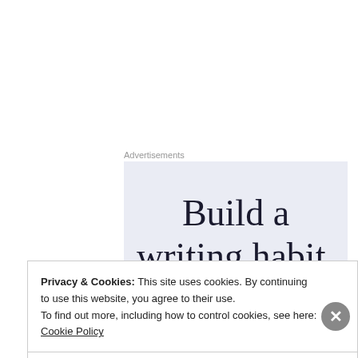Advertisements
[Figure (illustration): Advertisement banner with light blue background showing text 'Build a writing habit. Post on' in large serif font, partially cut off at bottom]
Visit the other pages on this website for more background information on the Alexander Wilson story, his family, the investigation, and his career and significance...
Privacy & Cookies: This site uses cookies. By continuing to use this website, you agree to their use.
To find out more, including how to control cookies, see here: Cookie Policy
Close and accept